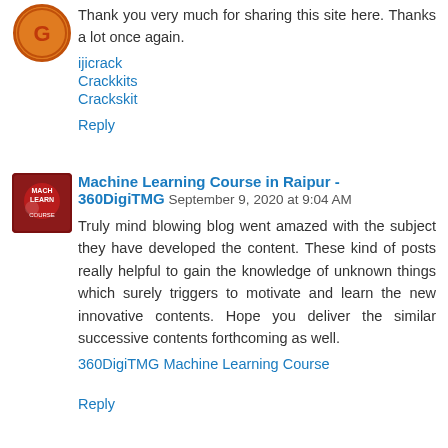Thank you very much for sharing this site here. Thanks a lot once again.
ijicrack
Crackkits
Crackskit
Reply
Machine Learning Course in Raipur - 360DigiTMG  September 9, 2020 at 9:04 AM
Truly mind blowing blog went amazed with the subject they have developed the content. These kind of posts really helpful to gain the knowledge of unknown things which surely triggers to motivate and learn the new innovative contents. Hope you deliver the similar successive contents forthcoming as well.
360DigiTMG Machine Learning Course
Reply